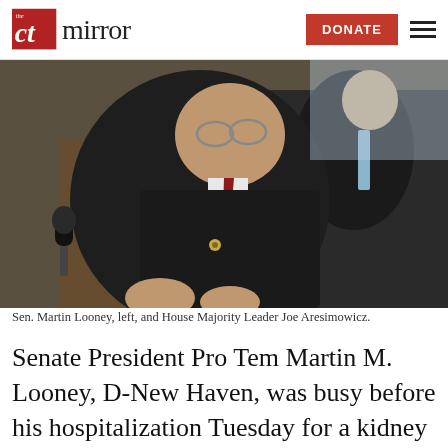the CT mirror | DONATE
[Figure (photo): Sen. Martin Looney, left, wearing dark suit and red tie at a microphone, and House Majority Leader Joe Aresimowicz behind him in a dark suit with blue tie.]
Sen. Martin Looney, left, and House Majority Leader Joe Aresimowicz.
Senate President Pro Tem Martin M. Looney, D-New Haven, was busy before his hospitalization Tuesday for a kidney transplant, filing bills that would create a paid